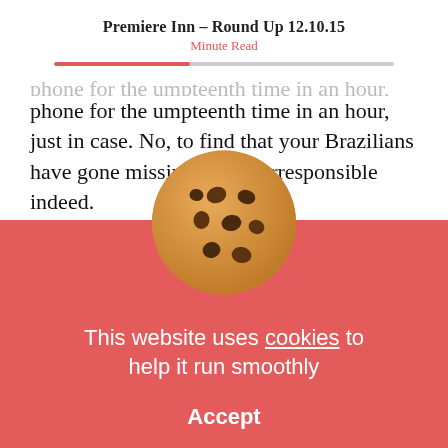Premiere Inn – Round Up 12.10.15
Minute Read
phone for the umpteeth time in an hour, just in case. No, to find that your Brazilians have gone missing is very irresponsible indeed.
However, after a little while you might just hear a little rumbling of so[mething] special in your ear. After a solid ni[ght...] [of our early res...]
[Figure (photo): Chocolate chip cookie illustration overlapping article text and cookie consent banner]
This website uses cookies to help it run smoothly
Accept